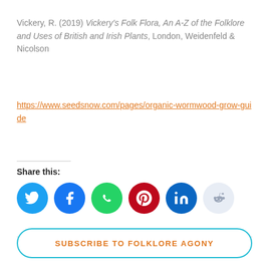Vickery, R. (2019) Vickery's Folk Flora, An A-Z of the Folklore and Uses of British and Irish Plants, London, Weidenfeld & Nicolson
https://www.seedsnow.com/pages/organic-wormwood-grow-guide
Share this:
[Figure (infographic): Row of six social media share icon buttons: Twitter (blue), Facebook (dark blue), WhatsApp (green), Pinterest (dark red), LinkedIn (dark blue), Reddit (light gray/blue)]
SUBSCRIBE TO FOLKLORE AGONY